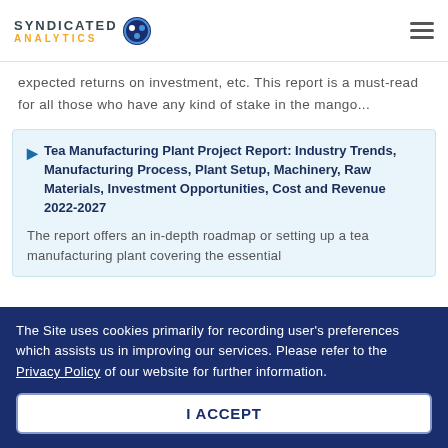Syndicated Analytics
expected returns on investment, etc. This report is a must-read for all those who have any kind of stake in the mango...
Tea Manufacturing Plant Project Report: Industry Trends, Manufacturing Process, Plant Setup, Machinery, Raw Materials, Investment Opportunities, Cost and Revenue 2022-2027
The report offers an in-depth roadmap or setting up a tea manufacturing plant covering the essential
The Site uses cookies primarily for recording user's preferences which assists us in improving our services. Please refer to the Privacy Policy of our website for further information.
I ACCEPT